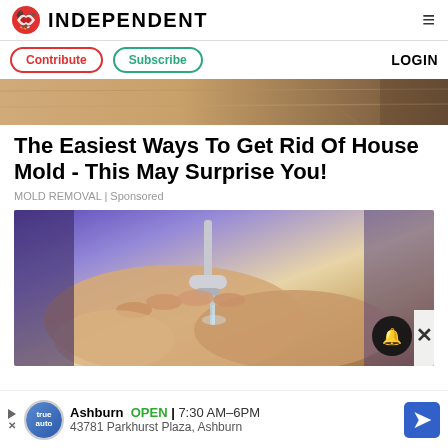INDEPENDENT
Contribute | Subscribe | LOGIN
[Figure (photo): Top portion of an article image showing a wooden surface or ceiling]
The Easiest Ways To Get Rid Of House Mold - This May Surprise You!
MOLD REMOVAL | Sponsored
[Figure (photo): Close-up of elderly hands under running water from a faucet, with a bell notification icon overlay and X close button]
Ashburn OPEN | 7:30 AM–6PM
43781 Parkhurst Plaza, Ashburn